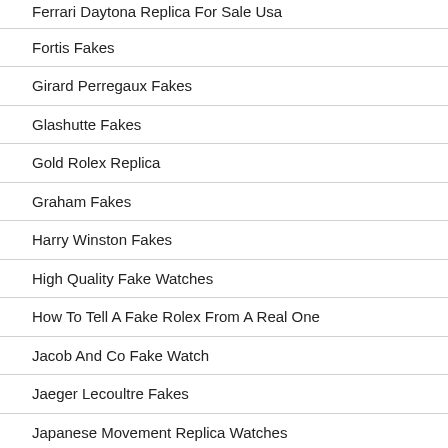Ferrari Daytona Replica For Sale Usa
Fortis Fakes
Girard Perregaux Fakes
Glashutte Fakes
Gold Rolex Replica
Graham Fakes
Harry Winston Fakes
High Quality Fake Watches
How To Tell A Fake Rolex From A Real One
Jacob And Co Fake Watch
Jaeger Lecoultre Fakes
Japanese Movement Replica Watches